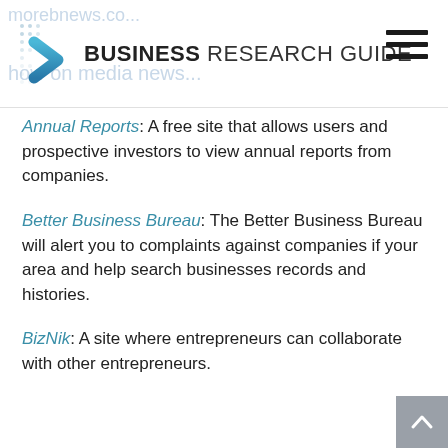BUSINESS RESEARCH GUIDE
Annual Reports: A free site that allows users and prospective investors to view annual reports from companies.
Better Business Bureau: The Better Business Bureau will alert you to complaints against companies if your area and help search businesses records and histories.
BizNik: A site where entrepreneurs can collaborate with other entrepreneurs.